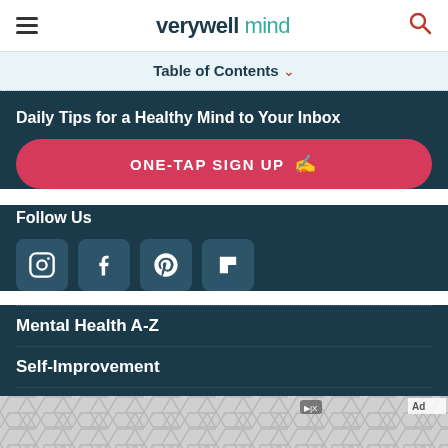verywell mind
Table of Contents
Daily Tips for a Healthy Mind to Your Inbox
ONE-TAP SIGN UP
Follow Us
[Figure (infographic): Social media icons: Instagram, Facebook, Pinterest, Flipboard]
Mental Health A-Z
Self-Improvement
Psychology
[Figure (infographic): Advertisement banner with gray hexagonal tile pattern]